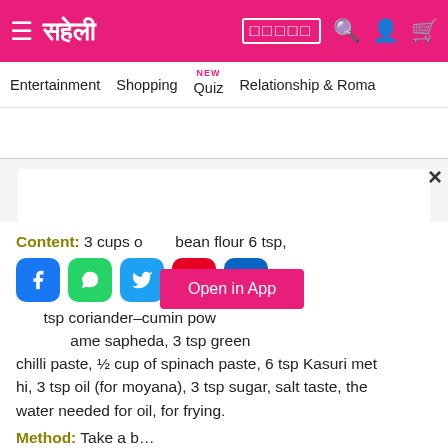≡ सहेली | [Hindi text] 🔍 👤 🛒
Entertainment  Shopping  Quiz NEW  Relationship & Roma...
[Figure (screenshot): Open in App pink button overlay on modal]
Content: 3 cups of [obscured] bean flour 6 tsp, [obscured] tsp coriander-cumin pow[der], [obscured] ame sapheda, 3 tsp green chilli paste, ½ cup of spinach paste, 6 tsp Kasuri methi, 3 tsp oil (for moyana), 3 tsp sugar, salt taste, the water needed for oil, for frying.
Method: Take a b...